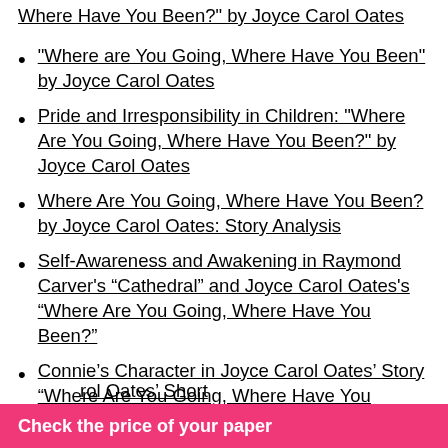Where Have You Been?" by Joyce Carol Oates (partial, top)
"Where are You Going, Where Have You Been" by Joyce Carol Oates
Pride and Irresponsibility in Children: "Where Are You Going, Where Have You Been?" by Joyce Carol Oates
Where Are You Going, Where Have You Been? by Joyce Carol Oates: Story Analysis
Self-Awareness and Awakening in Raymond Carver’s “Cathedral” and Joyce Carol Oates’s “Where Are You Going, Where Have You Been?”
Connie’s Character in Joyce Carol Oates’ Story “Where Are You Going, Where Have You Been?”
“Cinderella” and Joyce Carol Oates
rol Oates’ Short (partial, bottom)
Check the price of your paper